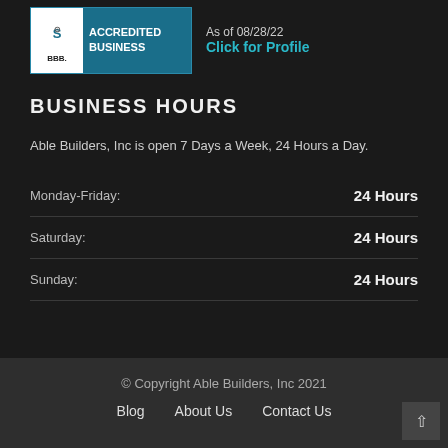[Figure (logo): BBB Accredited Business badge with teal background, white BBB logo box on left, 'ACCREDITED BUSINESS' text in white, 'As of 08/28/22' in light text and 'Click for Profile' in teal on the right]
BUSINESS HOURS
Able Builders, Inc is open 7 Days a Week, 24 Hours a Day.
| Day | Hours |
| --- | --- |
| Monday-Friday: | 24 Hours |
| Saturday: | 24 Hours |
| Sunday: | 24 Hours |
© Copyright Able Builders, Inc 2021
Blog   About Us   Contact Us